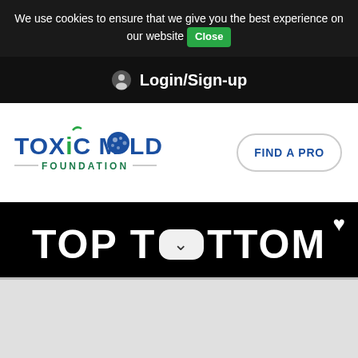We use cookies to ensure that we give you the best experience on our website Close
Login/Sign-up
[Figure (logo): Toxic Mold Foundation logo with blue and green text and mold spore icon]
FIND A PRO
TOP TO TTOM